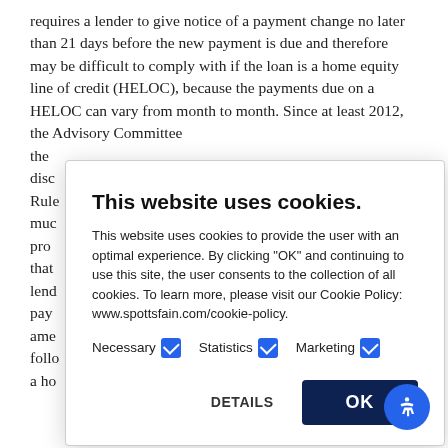requires a lender to give notice of a payment change no later than 21 days before the new payment is due and therefore may be difficult to comply with if the loan is a home equity line of credit (HELOC), because the payments due on a HELOC can vary from month to month. Since at least 2012, the Advisory Committee discussed the issue. The Rule much provided that lenders pay amendment following a home modified by to all.
[Figure (screenshot): Cookie consent modal dialog overlay with title 'This website uses cookies.', body text explaining cookie usage with link to www.spottsfain.com/cookie-policy, checkboxes for Necessary, Statistics, and Marketing (all checked), and buttons for DETAILS and OK.]